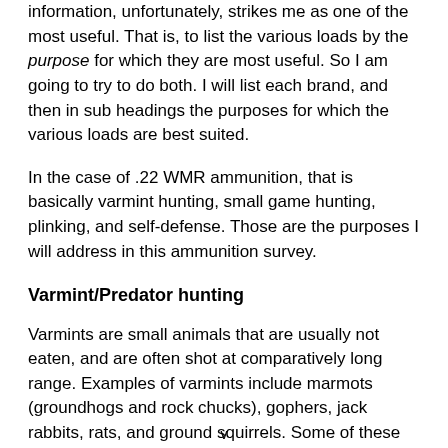information, unfortunately, strikes me as one of the most useful. That is, to list the various loads by the purpose for which they are most useful. So I am going to try to do both. I will list each brand, and then in sub headings the purposes for which the various loads are best suited.
In the case of .22 WMR ammunition, that is basically varmint hunting, small game hunting, plinking, and self-defense. Those are the purposes I will address in this ammunition survey.
Varmint/Predator hunting
Varmints are small animals that are usually not eaten, and are often shot at comparatively long range. Examples of varmints include marmots (groundhogs and rock chucks), gophers, jack rabbits, rats, and ground squirrels. Some of these creatures are larger and tougher than
v